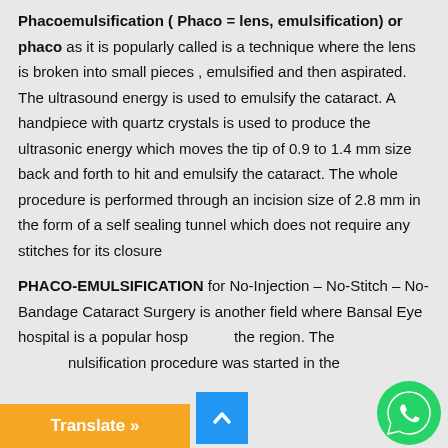Phacoemulsification ( Phaco = lens, emulsification) or phaco as it is popularly called is a technique where the lens is broken into small pieces , emulsified and then aspirated. The ultrasound energy is used to emulsify the cataract. A handpiece with quartz crystals is used to produce the ultrasonic energy which moves the tip of 0.9 to 1.4 mm size back and forth to hit and emulsify the cataract. The whole procedure is performed through an incision size of 2.8 mm in the form of a self sealing tunnel which does not require any stitches for its closure
PHACO-EMULSIFICATION for No-Injection – No-Stitch – No-Bandage Cataract Surgery is another field where Bansal Eye hospital is a popular hospital in the region. The phacoemulsification procedure was started in the